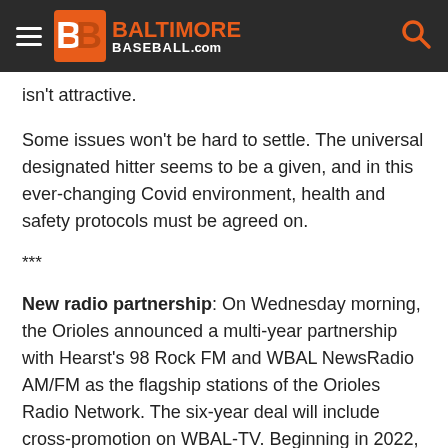Baltimore Baseball.com
isn't attractive.
Some issues won't be hard to settle. The universal designated hitter seems to be a given, and in this ever-changing Covid environment, health and safety protocols must be agreed on.
***
New radio partnership: On Wednesday morning, the Orioles announced a multi-year partnership with Hearst's 98 Rock FM and WBAL NewsRadio AM/FM as the flagship stations of the Orioles Radio Network. The six-year deal will include cross-promotion on WBAL-TV. Beginning in 2022, all 162 regular-season games and select spring training games will be broadcast on Hearst platforms, including...